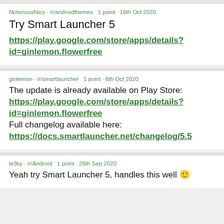NotoriousNico · /r/androidthemes  1 point · 16th Oct 2020
Try Smart Launcher 5
https://play.google.com/store/apps/details?id=ginlemon.flowerfree
ginlemon · /r/smartlauncher  1 point · 6th Oct 2020
The update is already available on Play Store: https://play.google.com/store/apps/details?id=ginlemon.flowerfree Full changelog available here: https://docs.smartlauncher.net/changelog/5.5
le3ky · /r/Android  1 point · 26th Sep 2020
Yeah try Smart Launcher 5, handles this well 🙂